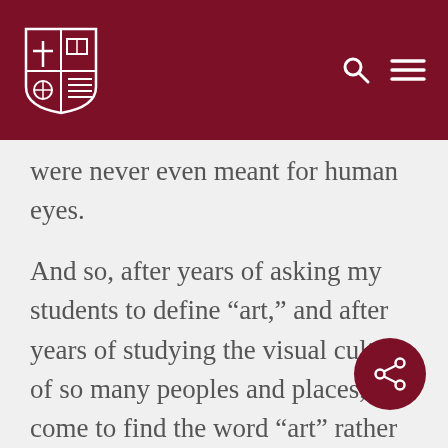University website header with shield logo, search icon, and menu icon
were never even meant for human eyes.
And so, after years of asking my students to define “art,” and after years of studying the visual culture of so many peoples and places, I’ve come to find the word “art” rather monstrous. And I don’t mean “monstrous” in an evil way, I mean monstrous in the sense of